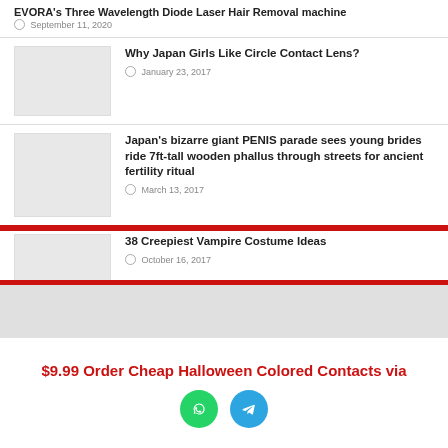EVORA's Three Wavelength Diode Laser Hair Removal machine
September 11, 2020
Why Japan Girls Like Circle Contact Lens?
January 23, 2017
Japan's bizarre giant PENIS parade sees young brides ride 7ft-tall wooden phallus through streets for ancient fertility ritual
March 13, 2017
38 Creepiest Vampire Costume Ideas
October 16, 2017
$9.99 Order Cheap Halloween Colored Contacts via
[Figure (illustration): WhatsApp and Telegram contact icons (green circle with phone, blue circle with paper plane)]